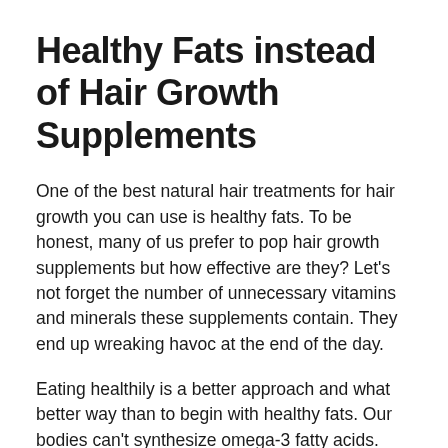Healthy Fats instead of Hair Growth Supplements
One of the best natural hair treatments for hair growth you can use is healthy fats. To be honest, many of us prefer to pop hair growth supplements but how effective are they? Let’s not forget the number of unnecessary vitamins and minerals these supplements contain. They end up wreaking havoc at the end of the day.
Eating healthily is a better approach and what better way than to begin with healthy fats. Our bodies can’t synthesize omega-3 fatty acids. You can get these by consuming healthy fats. They’ll in turn nourish your hair